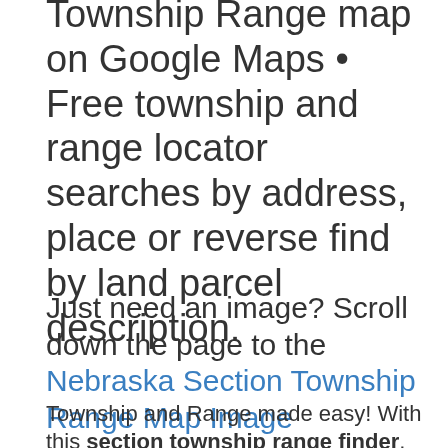Township Range map on Google Maps • Free township and range locator searches by address, place or reverse find by land parcel description.
Just need an image? Scroll down the page to the Nebraska Section Township Range Map Image
Township and Range made easy! With this section township range finder, you can view and search the Public Land Survey System (PLSS), also known as Congressional townships